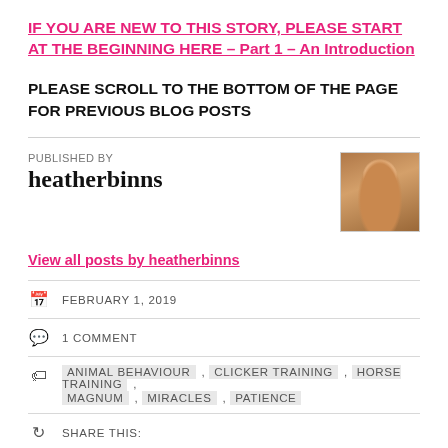IF YOU ARE NEW TO THIS STORY, PLEASE START AT THE BEGINNING HERE – Part 1 – An Introduction
PLEASE SCROLL TO THE BOTTOM OF THE PAGE FOR PREVIOUS BLOG POSTS
PUBLISHED BY
heatherbinns
[Figure (photo): Profile photo of heatherbinns showing a person with a horse, reddish-brown tones]
View all posts by heatherbinns
FEBRUARY 1, 2019
1 COMMENT
ANIMAL BEHAVIOUR , CLICKER TRAINING , HORSE TRAINING , MAGNUM , MIRACLES , PATIENCE
SHARE THIS: